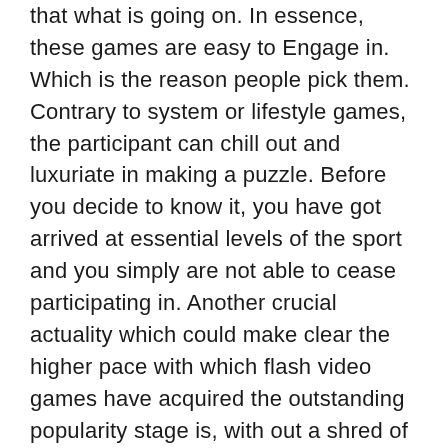that what is going on. In essence, these games are easy to Engage in. Which is the reason people pick them. Contrary to system or lifestyle games, the participant can chill out and luxuriate in making a puzzle. Before you decide to know it, you have got arrived at essential levels of the sport and you simply are not able to cease participating in. Another crucial actuality which could make clear the higher pace with which flash video games have acquired the outstanding popularity stage is, with out a shred of question, range. You can find not less than just one excellent alternate for each member with the household. In addition, some of these online games are applied as academic applications. You would be surprised of how straightforward young children can have an understanding of specific challenges when employing ground breaking suggests as the a